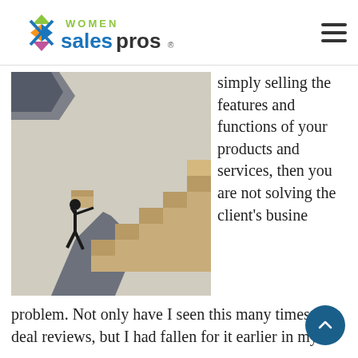Women Sales Pros
[Figure (photo): Silhouette of a person carrying a large box up stacked steps/stairs, with a long shadow, 3D render style]
simply selling the features and functions of your products and services, then you are not solving the client's business problem. Not only have I seen this many times in deal reviews, but I had fallen for it earlier in my